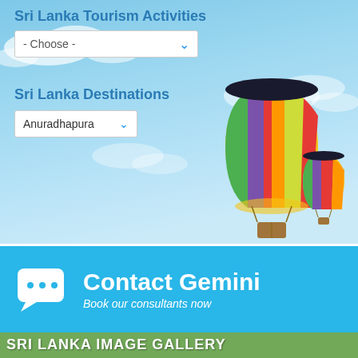[Figure (screenshot): Sri Lanka Tourism widget with sky background, hot air balloons, two dropdown menus: 'Sri Lanka Tourism Activities' (Choose) and 'Sri Lanka Destinations' (Anuradhapura)]
[Figure (infographic): Contact Gemini banner: blue background, chat bubble icon with three dots, text 'Contact Gemini' and 'Book our consultants now']
[Figure (photo): Sri Lanka Image Gallery banner with elephant, leopard, and rock fortress photos on green/natural background]